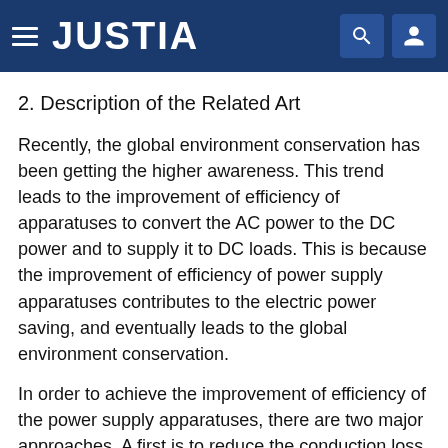JUSTIA
2. Description of the Related Art
Recently, the global environment conservation has been getting the higher awareness. This trend leads to the improvement of efficiency of apparatuses to convert the AC power to the DC power and to supply it to DC loads. This is because the improvement of efficiency of power supply apparatuses contributes to the electric power saving, and eventually leads to the global environment conservation.
In order to achieve the improvement of efficiency of the power supply apparatuses, there are two major approaches. A first is to reduce the conduction loss caused by the electric current to flow in the switching elements, and a second is to reduce the switching loss caused by the switching elements to switch.